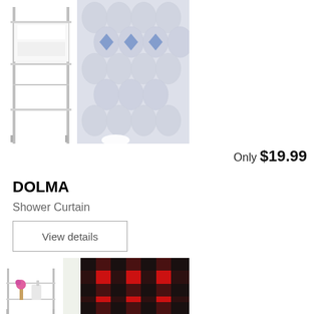[Figure (photo): Shower curtain with light blue/grey diamond pattern hanging in bathroom, with metal shelving unit visible on left side]
Only $19.99
DOLMA
Shower Curtain
View details
[Figure (photo): Red and black buffalo plaid/check pattern shower curtain hanging in bathroom with glass shelf and pink flowers visible on left]